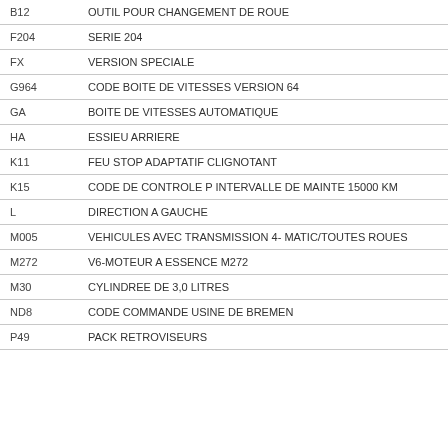| Code | Description |
| --- | --- |
| B12 | OUTIL POUR CHANGEMENT DE ROUE |
| F204 | SERIE 204 |
| FX | VERSION SPECIALE |
| G964 | CODE BOITE DE VITESSES VERSION 64 |
| GA | BOITE DE VITESSES AUTOMATIQUE |
| HA | ESSIEU ARRIERE |
| K11 | FEU STOP ADAPTATIF CLIGNOTANT |
| K15 | CODE DE CONTROLE P INTERVALLE DE MAINTE 15000 KM |
| L | DIRECTION A GAUCHE |
| M005 | VEHICULES AVEC TRANSMISSION 4- MATIC/TOUTES ROUES |
| M272 | V6-MOTEUR A ESSENCE M272 |
| M30 | CYLINDREE DE 3,0 LITRES |
| ND8 | CODE COMMANDE USINE DE BREMEN |
| P49 | PACK RETROVISEURS |